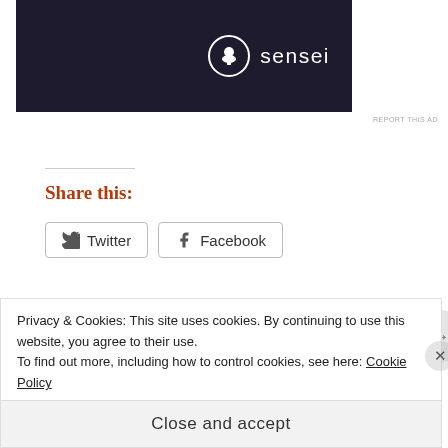[Figure (screenshot): Dark ad banner with Sensei logo (tree icon in circle) and brand name in white on dark navy background]
REPORT THIS AD
Share this:
Twitter   Facebook
Loading...
Related
Privacy & Cookies: This site uses cookies. By continuing to use this website, you agree to their use.
To find out more, including how to control cookies, see here: Cookie Policy
Close and accept